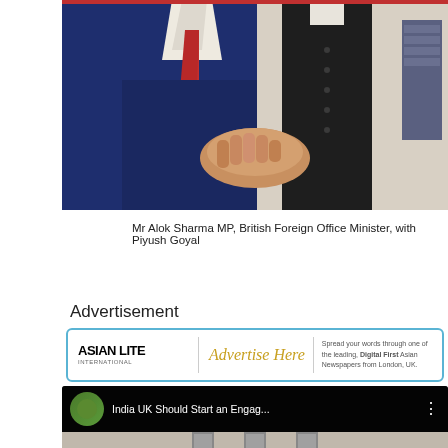[Figure (photo): Two men shaking hands — one in a blue suit with red tie, the other in a dark vest over white kurta]
Mr Alok Sharma MP, British Foreign Office Minister, with Piyush Goyal
Advertisement
[Figure (screenshot): Asian Lite advertisement banner with 'Advertise Here' text and tagline about leading Digital First Asian Newspapers from London, UK]
[Figure (screenshot): YouTube video thumbnail showing 'India UK Should Start an Engag...' with three portrait photographs on the wall and a YouTube play button]